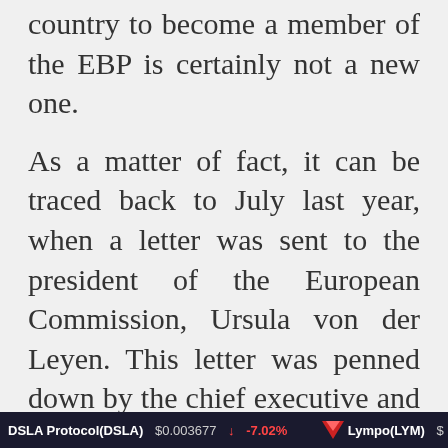country to become a member of the EBP is certainly not a new one.
As a matter of fact, it can be traced back to July last year, when a letter was sent to the president of the European Commission, Ursula von der Leyen. This letter was penned down by the chief executive and founder of Virtual Assets of Ukraine named Konstantin Yarmolenko and parliamentary group Blockchain4Ukraine's head, Oleksii Zhmerenetskyi.
DSLA Protocol(DSLA) $0.003677 ↓ -7.02%   Lympo(LYM) $